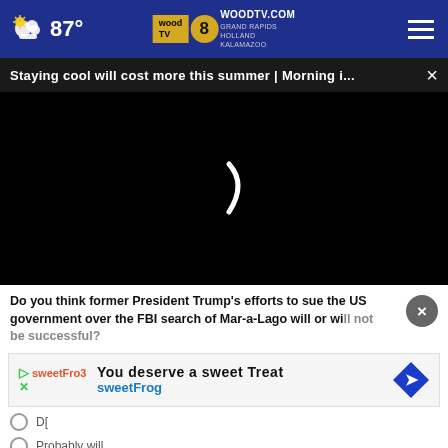87° | WOODTV.COM GRAND RAPIDS HOLLAND KALAMAZOO
Staying cool will cost more this summer | Morning i... ×
[Figure (screenshot): Black video player area with a loading spinner (partial white parenthesis shape) in the center]
Do you think former President Trump's efforts to sue the US government over the FBI search of Mar-a-Lago will or will not be successful?
[Figure (other): Advertisement for sweetFrog: 'You deserve a sweet Treat sweetFrog' with logo and arrow icon]
Probably will
D[...]